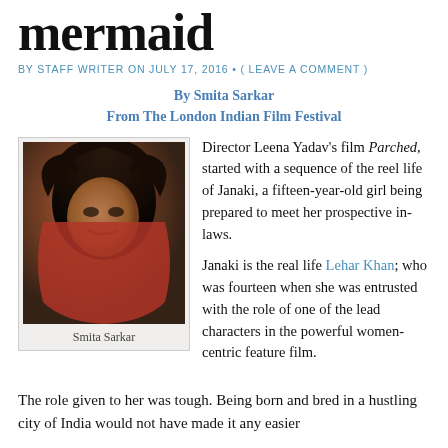mermaid
BY STAFF WRITER ON JULY 17, 2016 • ( LEAVE A COMMENT )
By Smita Sarkar
From The London Indian Film Festival
[Figure (photo): Close-up photo of Smita Sarkar, a woman with dark wavy hair, photographed outdoors.]
Smita Sarkar
Director Leena Yadav's film Parched, started with a sequence of the reel life of Janaki, a fifteen-year-old girl being prepared to meet her prospective in-laws.

Janaki is the real life Lehar Khan; who was fourteen when she was entrusted with the role of one of the lead characters in the powerful women-centric feature film.
The role given to her was tough. Being born and bred in a bustling city of India would not have made it any easier